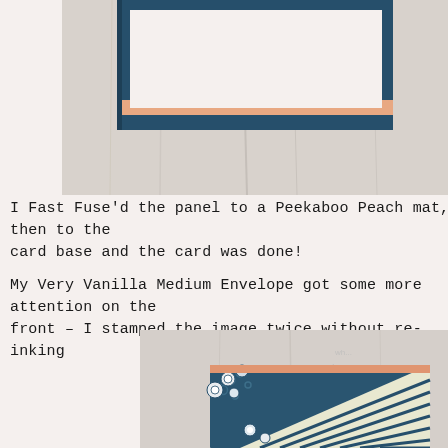[Figure (photo): Top portion of a craft card showing a dark navy blue framed card with a white/cream center panel and a peach/salmon border strip, photographed against a light grey weathered wood background.]
I Fast Fuse'd the panel to a Peekaboo Peach mat, then to the card base and the card was done!
My Very Vanilla Medium Envelope got some more attention on the front – I stamped the image twice without re-inking
[Figure (photo): Bottom portion of a craft card showing a dark navy blue embossed card with striped patterned paper panel, circular embellishments, and peach/salmon border, photographed against a light grey weathered wood background.]